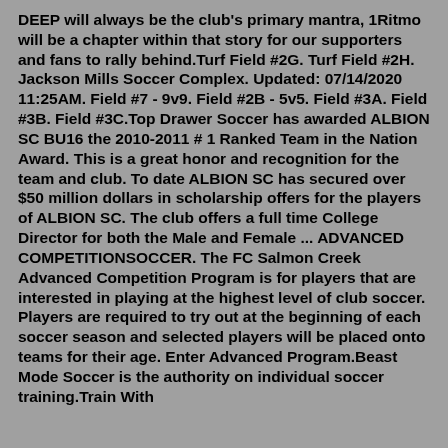DEEP will always be the club's primary mantra, 1Ritmo will be a chapter within that story for our supporters and fans to rally behind.Turf Field #2G. Turf Field #2H. Jackson Mills Soccer Complex. Updated: 07/14/2020 11:25AM. Field #7 - 9v9. Field #2B - 5v5. Field #3A. Field #3B. Field #3C.Top Drawer Soccer has awarded ALBION SC BU16 the 2010-2011 # 1 Ranked Team in the Nation Award. This is a great honor and recognition for the team and club. To date ALBION SC has secured over $50 million dollars in scholarship offers for the players of ALBION SC. The club offers a full time College Director for both the Male and Female ... ADVANCED COMPETITIONSOCCER. The FC Salmon Creek Advanced Competition Program is for players that are interested in playing at the highest level of club soccer. Players are required to try out at the beginning of each soccer season and selected players will be placed onto teams for their age. Enter Advanced Program.Beast Mode Soccer is the authority on individual soccer training.Train With